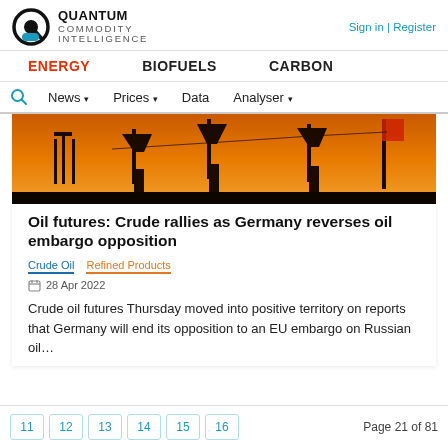QUANTUM COMMODITY INTELLIGENCE | Sign in | Register
ENERGY   BIOFUELS   CARBON
News  Prices  Data  Analyser
[Figure (photo): Oil pump jacks silhouetted against an orange sunset sky]
Oil futures: Crude rallies as Germany reverses oil embargo opposition
Crude Oil   Refined Products
28 Apr 2022
Crude oil futures Thursday moved into positive territory on reports that Germany will end its opposition to an EU embargo on Russian oil…
11  12  13  14  15  16   Page 21 of 81